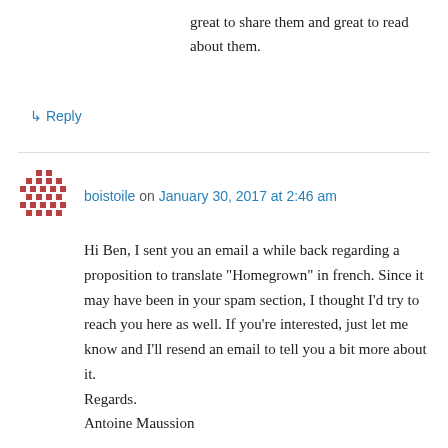great to share them and great to read about them.
↳ Reply
boistoile on January 30, 2017 at 2:46 am
Hi Ben, I sent you an email a while back regarding a proposition to translate “Homegrown” in french. Since it may have been in your spam section, I thought I’d try to reach you here as well. If you’re interested, just let me know and I’ll resend an email to tell you a bit more about it.
Regards.
Antoine Maussion